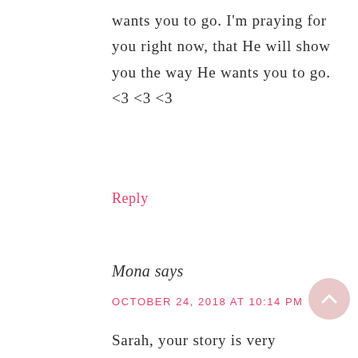wants you to go. I'm praying for you right now, that He will show you the way He wants you to go. <3 <3 <3
Reply
Mona says
OCTOBER 24, 2018 AT 10:14 PM
Sarah, your story is very inspirational. What a blessing you